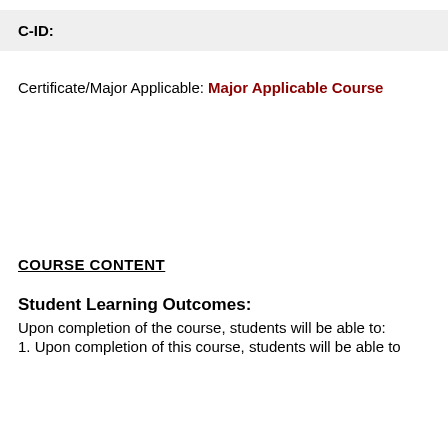| C-ID: |
| --- |
|  |
Certificate/Major Applicable: Major Applicable Course
COURSE CONTENT
Student Learning Outcomes:
Upon completion of the course, students will be able to:
1. Upon completion of this course, students will be able to